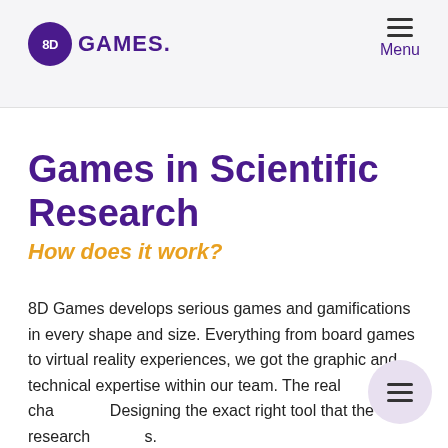8D GAMES. Menu
Games in Scientific Research
How does it work?
8D Games develops serious games and gamifications in every shape and size. Everything from board games to virtual reality experiences, we got the graphic and technical expertise within our team. The real cha... Designing the exact right tool that the research...s.